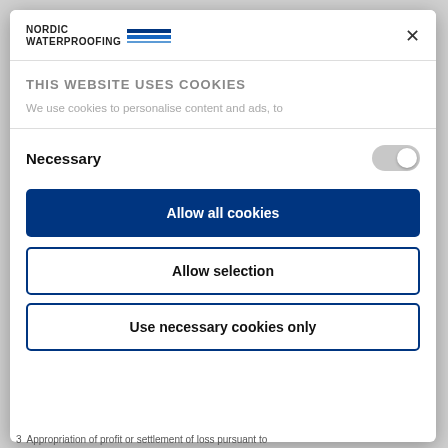[Figure (logo): Nordic Waterproofing logo with text and blue horizontal bars]
THIS WEBSITE USES COOKIES
We use cookies to personalise content and ads, to
Necessary
Allow all cookies
Allow selection
Use necessary cookies only
3  Appropriation of profit or settlement of loss pursuant to